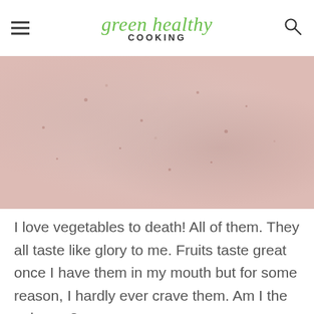green healthy COOKING
[Figure (photo): Close-up photo of a pink smoothie in a glass or bowl, showing a creamy pink-hued texture with small speckles throughout]
I love vegetables to death! All of them. They all taste like glory to me. Fruits taste great once I have them in my mouth but for some reason, I hardly ever crave them. Am I the only one?